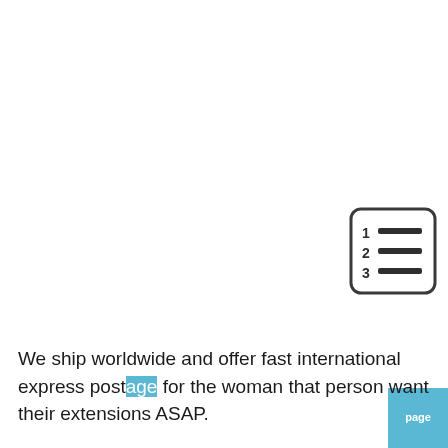[Figure (other): A numbered list icon with three lines (1, 2, 3) inside a rounded rectangle border]
We ship worldwide and offer fast international express postage for the woman that person want their extensions ASAP.